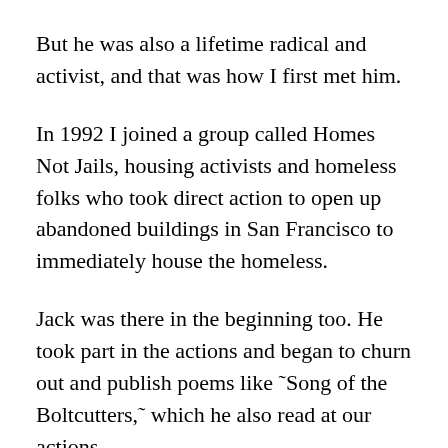But he was also a lifetime radical and activist, and that was how I first met him.
In 1992 I joined a group called Homes Not Jails, housing activists and homeless folks who took direct action to open up abandoned buildings in San Francisco to immediately house the homeless.
Jack was there in the beginning too. He took part in the actions and began to churn out and publish poems like ˜Song of the Boltcutters,˜ which he also read at our actions.
Back in those early days, Jack and I and a good many others were arrested for reoccupying a building we called Red Balloon on Polk near California. This building had been an adult bookstore, part of a national chain, until it was busted for peddling kiddie porn. It was a federal bust, which enabled the feds to